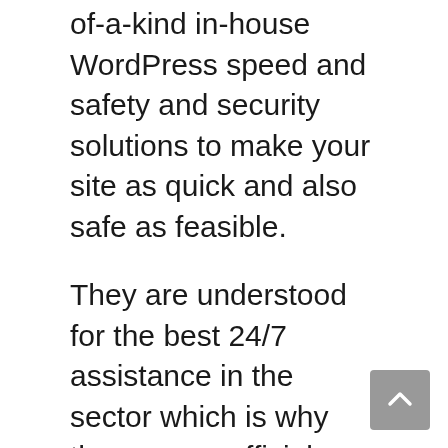of-a-kind in-house WordPress speed and safety and security solutions to make your site as quick and also safe as feasible.
They are understood for the best 24/7 assistance in the sector which is why they are an official WordPress proposed hosting carrier. This is likewise why many people make use of SiteGround to host their first website. SiteGround functions include automated upgrades, everyday back-ups integrated WP caching, complimentary content delivery network, cost-free SSL, one-click staging, as well as GIT version control.
Siteground is just one of the suggested WordPress hosting firms. They are known for their excellent client support, reliability, and